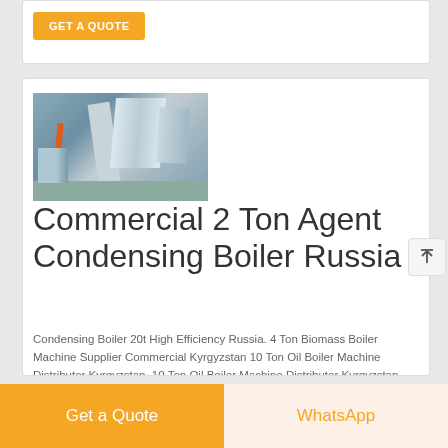GET A QUOTE
[Figure (photo): Industrial condensing boiler equipment in a factory/plant setting with pipes, ducts, and structural elements visible]
Commercial 2 Ton Agent Condensing Boiler Russia
Condensing Boiler 20t High Efficiency Russia. 4 Ton Biomass Boiler Machine Supplier Commercial Kyrgyzstan 10 Ton Oil Boiler Machine Distributor Kyrgyzstan. 10 Ton Oil Boiler Machine Distributor Kyrgyzstan. Other Products: condensing hot water...
Get a Quote
WhatsApp